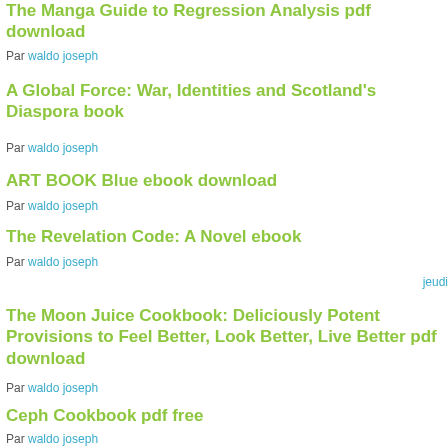The Manga Guide to Regression Analysis pdf download
Par waldo joseph
A Global Force: War, Identities and Scotland's Diaspora book
Par waldo joseph
ART BOOK Blue ebook download
Par waldo joseph
The Revelation Code: A Novel ebook
Par waldo joseph
jeudi
The Moon Juice Cookbook: Deliciously Potent Provisions to Feel Better, Look Better, Live Better pdf download
Par waldo joseph
Ceph Cookbook pdf free
Par waldo joseph